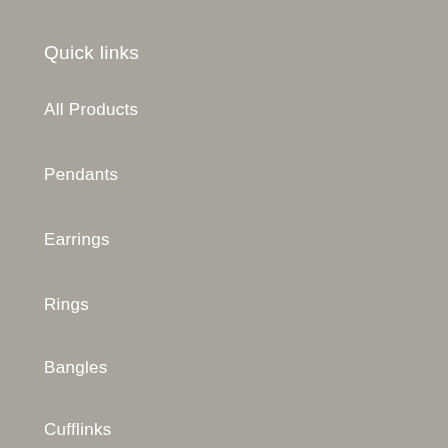Quick links
All Products
Pendants
Earrings
Rings
Bangles
Cufflinks